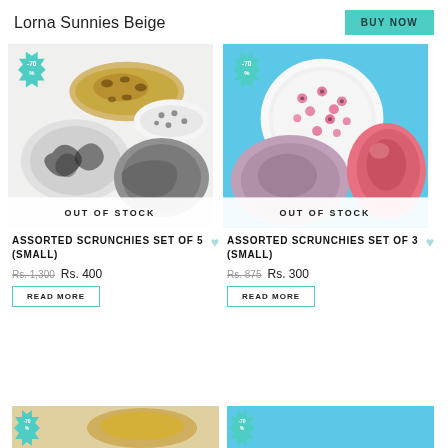Lorna Sunnies Beige
BUY NOW
[Figure (photo): Assorted scrunchies set of 5 small — multiple patterned scrunchies on white background; discount badge showing -70%; Out of Stock overlay]
ASSORTED SCRUNCHIES SET OF 5 (SMALL)
Rs. 1,300 Rs. 400
READ MORE
[Figure (photo): Assorted scrunchies set of 3 small — floral, mauve, and pink satin scrunchies on blue background; discount badge showing -70%; Out of Stock overlay]
ASSORTED SCRUNCHIES SET OF 3 (SMALL)
Rs. 875 Rs. 300
READ MORE
[Figure (photo): Partially visible product cards at the bottom of the page]